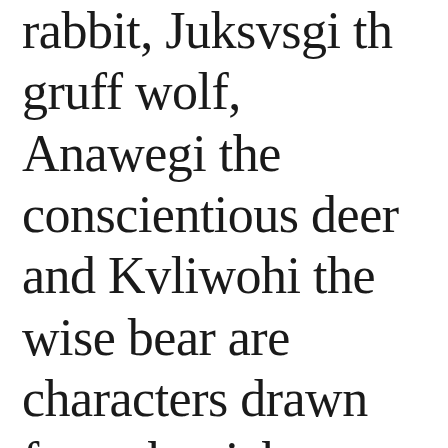rabbit, Juksvsgi th gruff wolf, Anawegi the conscientious deer and Kvliwohi the wise bear are characters drawn from the rich Cherokee storytelling tradition.